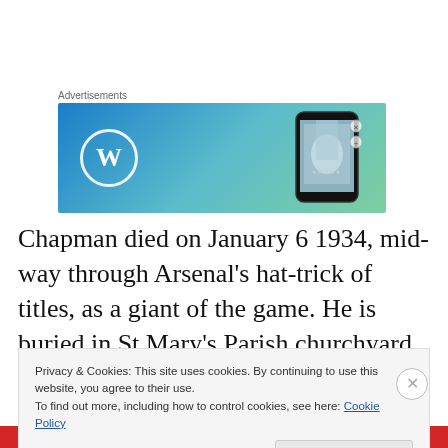Advertisements
[Figure (screenshot): WordPress advertisement banner with blue-to-green gradient background, WordPress logo on left and phone mockup on right]
Chapman died on January 6 1934, mid-way through Arsenal's hat-trick of titles, as a giant of the game. He is buried in St Mary's Parish churchyard in Hendon, north-west London with his wife, Annie Bennett Chapman. Annie
Privacy & Cookies: This site uses cookies. By continuing to use this website, you agree to their use.
To find out more, including how to control cookies, see here: Cookie Policy
Close and accept